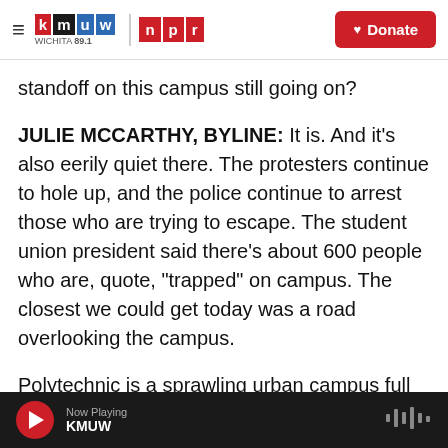KMUW Wichita 89.1 | NPR | Donate
standoff on this campus still going on?
JULIE MCCARTHY, BYLINE: It is. And it's also eerily quiet there. The protesters continue to hole up, and the police continue to arrest those who are trying to escape. The student union president said there's about 600 people who are, quote, "trapped" on campus. The closest we could get today was a road overlooking the campus.
Polytechnic is a sprawling urban campus full of big buildings interlinked with footbridges - that's key. The protesters controlled those bridges, and they
Now Playing KMUW